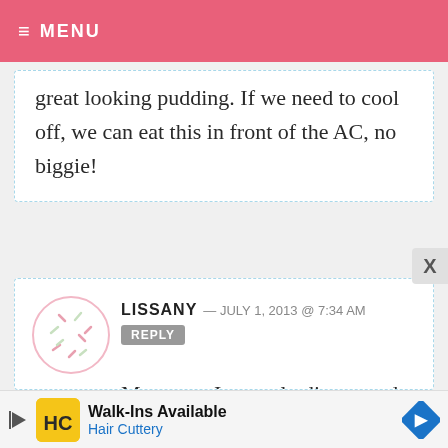MENU
great looking pudding. If we need to cool off, we can eat this in front of the AC, no biggie!
LISSANY — JULY 1, 2013 @ 7:34 AM  REPLY
Mmmm – I recently discovered medjool dates and my daughter and I are in love! Kind of like caramel fruit! Just as an FYI, certain warehouse clubs carry large containers of medjool dates MUCH cheaper than at the
Walk-Ins Available  Hair Cuttery